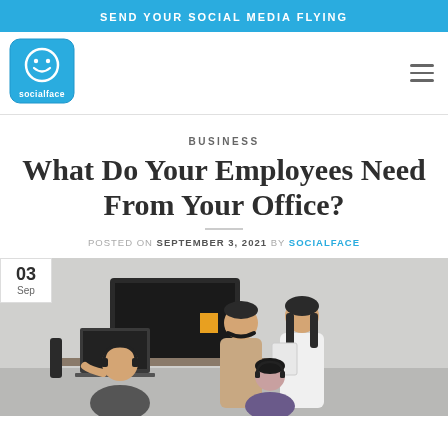SEND YOUR SOCIAL MEDIA FLYING
[Figure (logo): Socialface logo — rounded square with smiley face icon and 'socialface' text below]
BUSINESS
What Do Your Employees Need From Your Office?
POSTED ON SEPTEMBER 3, 2021 BY SOCIALFACE
[Figure (photo): Office scene with several employees — a bald man with headphones working at a laptop, a young man with headphones around his neck standing, a woman with headphones holding a tablet, and another woman in a white blouse. A large TV screen is visible in the background. Date badge showing '03 Sep' overlaid on top-left corner.]